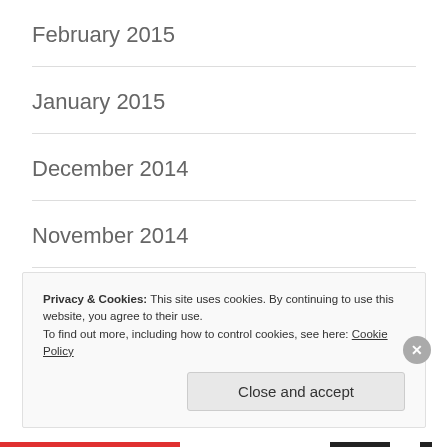February 2015
January 2015
December 2014
November 2014
October 2014
December 2013
Privacy & Cookies: This site uses cookies. By continuing to use this website, you agree to their use.
To find out more, including how to control cookies, see here: Cookie Policy
Close and accept